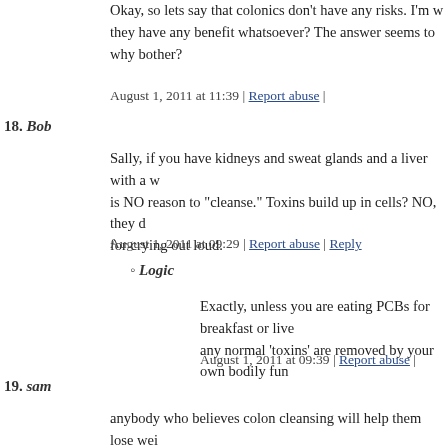Okay, so lets say that colonics don't have any risks. I'm w they have any benefit whatsoever? The answer seems to why bother?
August 1, 2011 at 11:39 | Report abuse |
18. Bob
Sally, if you have kidneys and sweat glands and a liver with a w is NO reason to "cleanse." Toxins build up in cells? NO, they d for crying out loud.
August 1, 2011 at 09:29 | Report abuse | Reply
◦ Logic
Exactly, unless you are eating PCBs for breakfast or live any normal 'toxins' are removed by your own bodily fun
August 1, 2011 at 09:39 | Report abuse |
19. sam
anybody who believes colon cleansing will help them lose wei
just saying.
August 1, 2011 at 09:29 | Report abuse | Reply
20. Naturally